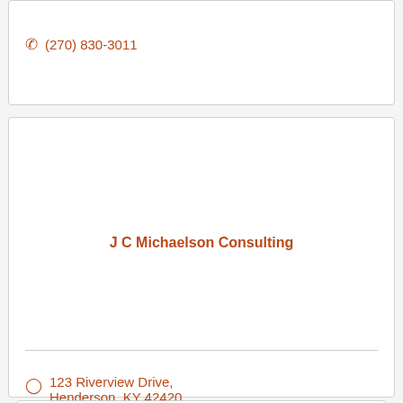(270) 830-3011
J C Michaelson Consulting
123 Riverview Drive, Henderson, KY 42420
(859) 620-4598